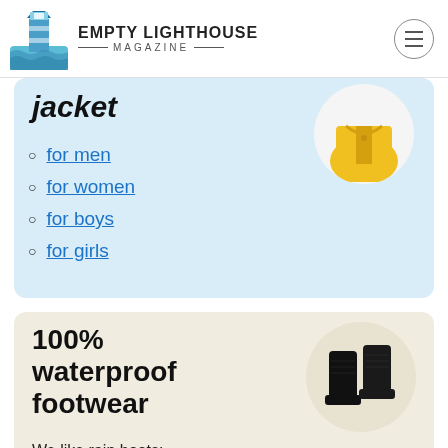EMPTY LIGHTHOUSE MAGAZINE
jacket
[Figure (photo): Yellow rain jacket on a circular white background]
for men
for women
for boys
for girls
100% waterproof footwear
[Figure (photo): Black rain boots on a circular beige background]
We like rain boots:
for men
for women
for kids